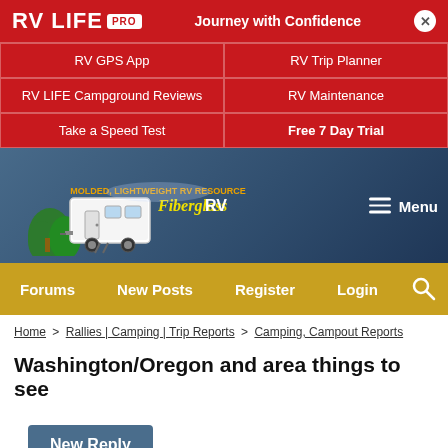[Figure (logo): RV LIFE PRO banner with red background, logo, tagline 'Journey with Confidence', and grid of navigation links]
[Figure (logo): Fiberglass RV website header with logo and Menu button over dark blue background]
[Figure (infographic): Navigation bar with Forums, New Posts, Register, Login, and search icon on gold/yellow background]
Home > Rallies | Camping | Trip Reports > Camping, Campout Reports
Washington/Oregon and area things to see
New Reply
Page 2 of 2  < Prev  ♥